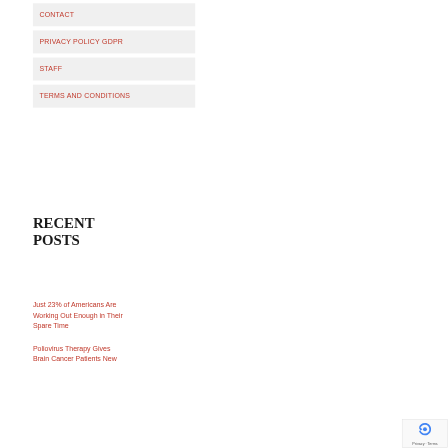CONTACT
PRIVACY POLICY GDPR
STAFF
TERMS AND CONDITIONS
RECENT POSTS
Just 23% of Americans Are Working Out Enough in Their Spare Time
Poliovirus Therapy Gives Brain Cancer Patients New